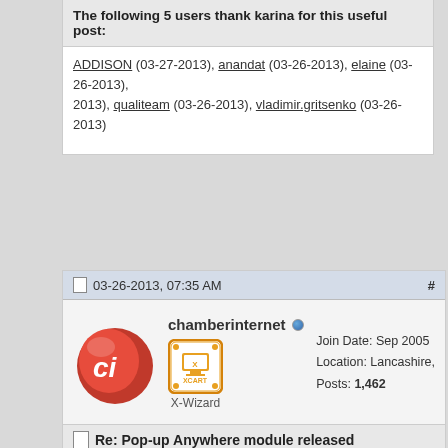The following 5 users thank karina for this useful post:
ADDISON (03-27-2013), anandat (03-26-2013), elaine (03-26-2013), qualiteam (03-26-2013), vladimir.gritsenko (03-26-2013)
03-26-2013, 07:35 AM
chamberinternet   Join Date: Sep 2005  Location: Lancashire,   Posts: 1,462  X-Wizard
Re: Pop-up Anywhere module released
The link doesn't seem to work 🙂
Developing in 4.7.x now (Dipping into v5 - Slowly!)
Have used 4.1.x, 4.2.x, 4.4.x, 4.5.x, 4.6.x & 4.7.x
Multiple Instances of X-Cart
MySQL 5.6.37
CentOS 7.4
Chamber Internet - Lancashire, United Kingdom
http://www.chamberelancs.co.uk